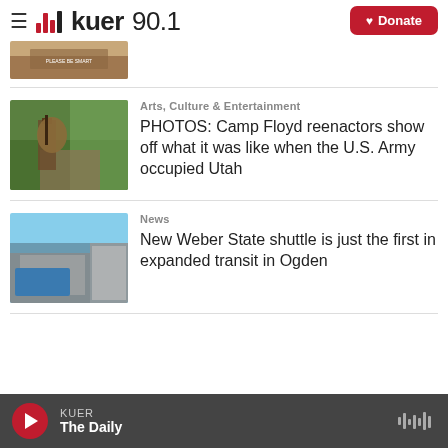KUER 90.1 — Donate
[Figure (screenshot): Partial article thumbnail at top]
[Figure (photo): Reenactor in Civil War-era costume holding a rifle, standing in front of stacked logs at Camp Floyd event]
Arts, Culture & Entertainment
PHOTOS: Camp Floyd reenactors show off what it was like when the U.S. Army occupied Utah
[Figure (photo): Transit bus parked in front of a modern glass building at Weber State]
News
New Weber State shuttle is just the first in expanded transit in Ogden
KUER — The Daily